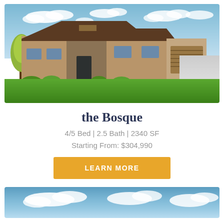[Figure (photo): Exterior rendering of a single-story ranch-style home called the Bosque, with stone and wood siding, two-car garage, blue sky, and green lawn.]
the Bosque
4/5 Bed | 2.5 Bath | 2340 SF
Starting From: $304,990
LEARN MORE
[Figure (photo): Partial exterior photo of another home, showing blue sky with clouds at the bottom of the page.]